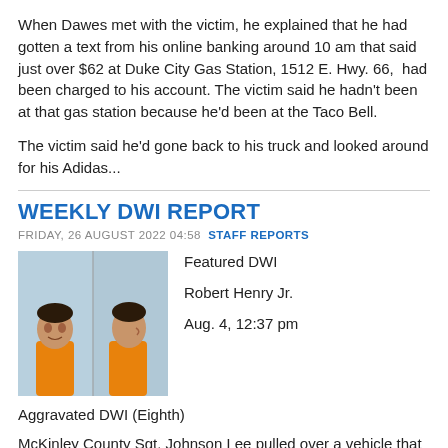When Dawes met with the victim, he explained that he had gotten a text from his online banking around 10 am that said just over $62 at Duke City Gas Station, 1512 E. Hwy. 66, had been charged to his account. The victim said he hadn't been at that gas station because he'd been at the Taco Bell.
The victim said he'd gone back to his truck and looked around for his Adidas...
WEEKLY DWI REPORT
FRIDAY, 26 AUGUST 2022 04:58 STAFF REPORTS
[Figure (photo): Mugshot of Robert Henry Jr. — two-panel booking photo showing front and side profile views, subject wearing orange shirt]
Featured DWI

Robert Henry Jr.

Aug. 4, 12:37 pm
Aggravated DWI (Eighth)
McKinley County Sgt. Johnson Lee pulled over a vehicle that was